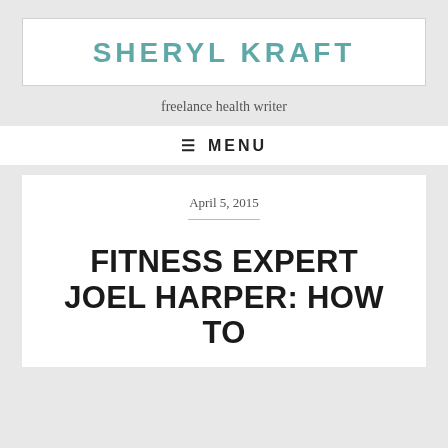SHERYL KRAFT
freelance health writer
≡ MENU
April 5, 2015
FITNESS EXPERT JOEL HARPER: HOW TO